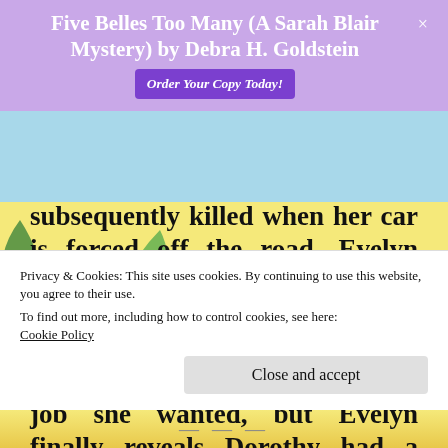Five Belles Too Many (A Sarah Blair Mystery) by Debra H. Goldstein
subsequently killed when her car is forced off the road. Evelyn begs Carrie to find the killer but Evelyn is holding something back. Carrie knew Dorothy was not happy when Carrie got the job she wanted, but Evelyn finally reveals Dorothy had a long list of enemies which translates to a long list of
Privacy & Cookies: This site uses cookies. By continuing to use this website, you agree to their use.
To find out more, including how to control cookies, see here:
Cookie Policy
Close and accept